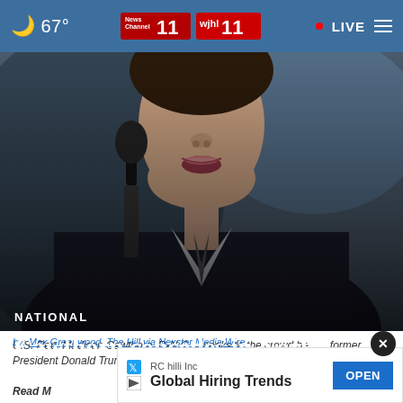🌙 67° | News Channel 11 wjhl 11 | • LIVE ≡
[Figure (photo): Close-up photo of U.S. Rep. Madison Cawthorn speaking into a microphone, wearing a dark suit and light shirt/tie, with a blurred background.]
NATIONAL
Cawthorn concedes in North Carolina House GOP primary
U.S. Rep. Madison Cawthorn, R-N.C., speaks to the crowd before former President Donald Trump takes the stage at a rally Saturday, April 9, 2022, in Selma, N.C.
Read M...
by: Max Greenwood, The Hill via Nexstar Media Wire
RC hilli  Inc
Global Hiring Trends  OPEN